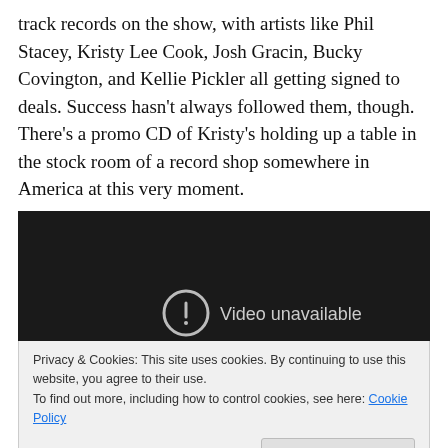track records on the show, with artists like Phil Stacey, Kristy Lee Cook, Josh Gracin, Bucky Covington, and Kellie Pickler all getting signed to deals. Success hasn't always followed them, though. There's a promo CD of Kristy's holding up a table in the stock room of a record shop somewhere in America at this very moment.
[Figure (screenshot): Embedded video player showing 'Video unavailable' message on dark background]
Privacy & Cookies: This site uses cookies. By continuing to use this website, you agree to their use.
To find out more, including how to control cookies, see here: Cookie Policy
Close and accept